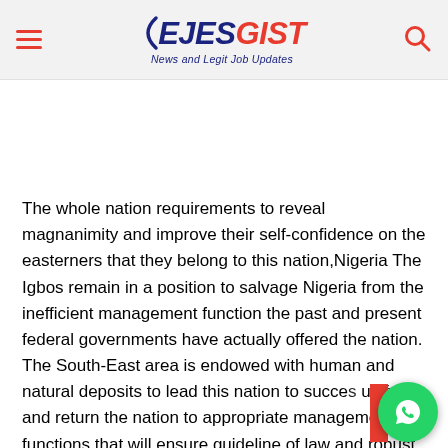EJESGIST - News and Legit Job Updates
The whole nation requirements to reveal magnanimity and improve their self-confidence on the easterners that they belong to this nation,Nigeria The Igbos remain in a position to salvage Nigeria from the inefficient management function the past and present federal governments have actually offered the nation. The South-East area is endowed with human and natural deposits to lead this nation to succe... unify and return the nation to appropriate management functions that will ensure guideline of law and robust